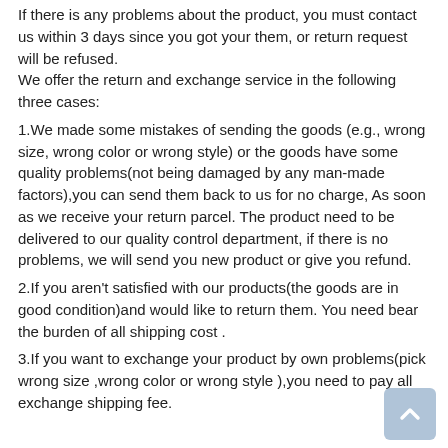If there is any problems about the product, you must contact us within 3 days since you got your them, or return request will be refused.
We offer the return and exchange service in the following three cases:
1.We made some mistakes of sending the goods (e.g., wrong size, wrong color or wrong style) or the goods have some quality problems(not being damaged by any man-made factors),you can send them back to us for no charge, As soon as we receive your return parcel. The product need to be delivered to our quality control department, if there is no problems, we will send you new product or give you refund.
2.If you aren't satisfied with our products(the goods are in good condition)and would like to return them. You need bear the burden of all shipping cost .
3.If you want to exchange your product by own problems(pick wrong size ,wrong color or wrong style ),you need to pay all exchange shipping fee.
Note: After you return back the product, available tracking number is needed!